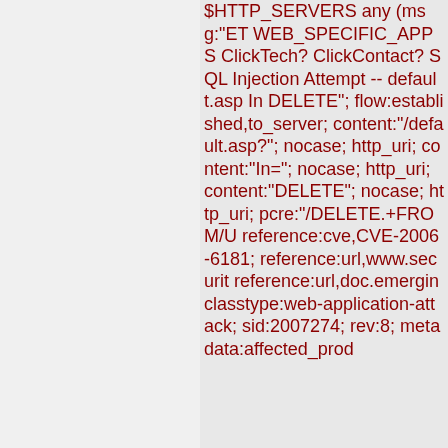$HTTP_SERVERS any (msg:"ET WEB_SPECIFIC_APPS ClickTech? ClickContact? SQL Injection Attempt -- default.asp In DELETE"; flow:established,to_server; content:"/default.asp?"; nocase; http_uri; content:"In="; nocase; http_uri; content:"DELETE"; nocase; http_uri; pcre:"/DELETE.+FROM/U reference:cve,CVE-2006-6181; reference:url,www.securit reference:url,doc.emergin classtype:web-application-attack; sid:2007274; rev:8; metadata:affected_prod